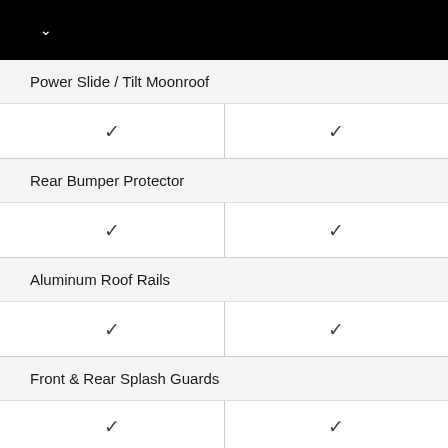| Feature | Col1 | Col2 |
| --- | --- | --- |
| Power Slide / Tilt Moonroof | ✓ | ✓ |
| Rear Bumper Protector | ✓ | ✓ |
| Aluminum Roof Rails | ✓ | ✓ |
| Front & Rear Splash Guards | ✓ | ✓ |